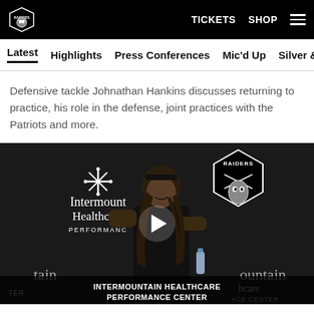TICKETS  SHOP  ☰
Latest  Highlights  Press Conferences  Mic'd Up  Silver & Black
Defensive tackle Johnathan Hankins discusses returning to practice, his role in the defense, joint practices with the Patriots and more.
[Figure (photo): Video thumbnail showing Johnathan Hankins at a press conference podium in front of Intermountain Healthcare Performance Center and Raiders branded backdrops. A play button is overlaid in the center. Lower banner reads INTERMOUNTAIN HEALTHCARE PERFORMANCE CENTER.]